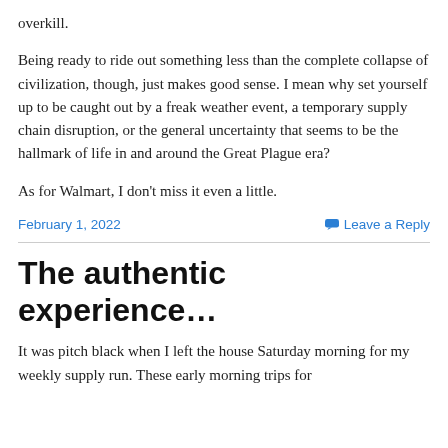overkill.
Being ready to ride out something less than the complete collapse of civilization, though, just makes good sense. I mean why set yourself up to be caught out by a freak weather event, a temporary supply chain disruption, or the general uncertainty that seems to be the hallmark of life in and around the Great Plague era?
As for Walmart, I don't miss it even a little.
February 1, 2022    Leave a Reply
The authentic experience…
It was pitch black when I left the house Saturday morning for my weekly supply run. These early morning trips for